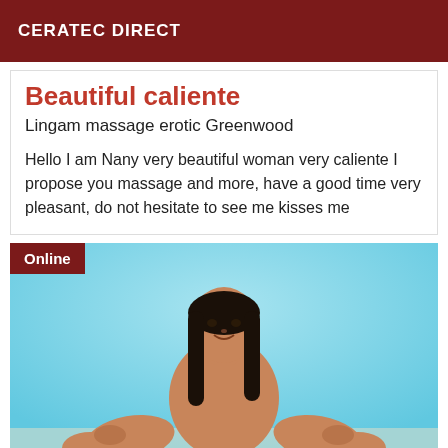CERATEC DIRECT
Beautiful caliente
Lingam massage erotic Greenwood
Hello I am Nany very beautiful woman very caliente I propose you massage and more, have a good time very pleasant, do not hesitate to see me kisses me
[Figure (photo): Woman sitting in a yoga/meditation pose against a light blue background, dark hair, smiling. An 'Online' badge is shown in the top-left corner of the photo.]